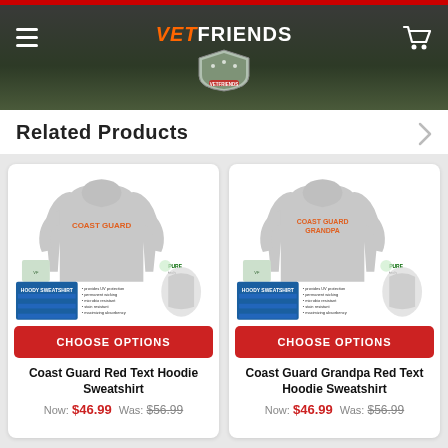VetFriends
Related Products
[Figure (photo): Gray hoodie sweatshirt with Coast Guard Red Text, shown from the back with product details and size chart inset]
CHOOSE OPTIONS
Coast Guard Red Text Hoodie Sweatshirt
Now: $46.99  Was: $56.99
[Figure (photo): Gray hoodie sweatshirt with Coast Guard Grandpa Red Text, shown from the back with product details and size chart inset]
CHOOSE OPTIONS
Coast Guard Grandpa Red Text Hoodie Sweatshirt
Now: $46.99  Was: $56.99